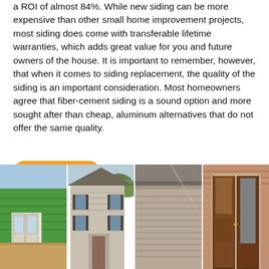a ROI of almost 84%. While new siding can be more expensive than other small home improvement projects, most siding does come with transferable lifetime warranties, which adds great value for you and future owners of the house. It is important to remember, however, that when it comes to siding replacement, the quality of the siding is an important consideration. Most homeowners agree that fiber-cement siding is a sound option and more sought after than cheap, aluminum alternatives that do not offer the same quality.
return to top
[Figure (photo): Four photos of houses showing various siding and exterior options: green siding with French doors, two-story house with gray siding, close-up of tan/beige siding under eaves, and a wood front door with brick exterior.]